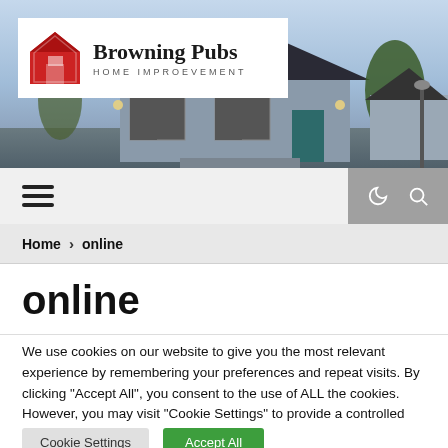[Figure (photo): Website header with a house/home exterior photo background, showing a large suburban house with two-car garage, blue-gray siding, and landscaping at dusk/dawn.]
Browning Pubs HOME IMPROEVEMENT
Home > online
online
We use cookies on our website to give you the most relevant experience by remembering your preferences and repeat visits. By clicking “Accept All”, you consent to the use of ALL the cookies. However, you may visit "Cookie Settings" to provide a controlled consent.
Cookie Settings   Accept All